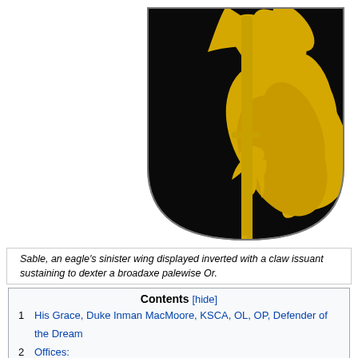[Figure (illustration): Heraldic shield: Sable (black), bearing an eagle's sinister wing displayed inverted with a claw issuant sustaining to dexter a broadaxe palewise Or (gold/yellow). The design shows a golden eagle wing with a claw gripping a golden poleaxe on a black shield background.]
Sable, an eagle's sinister wing displayed inverted with a claw issuant sustaining to dexter a broadaxe palewise Or.
| Contents [hide] |
| 1 | His Grace, Duke Inman MacMoore, KSCA, OL, OP, Defender of the Dream |
| 2 | Offices: |
| 3 | Persona History: |
| 4 | Interests: |
| 5 | Timeline of Activity: |
| 5.1 | Prior Groups |
| 6 | Populace Provided Information: |